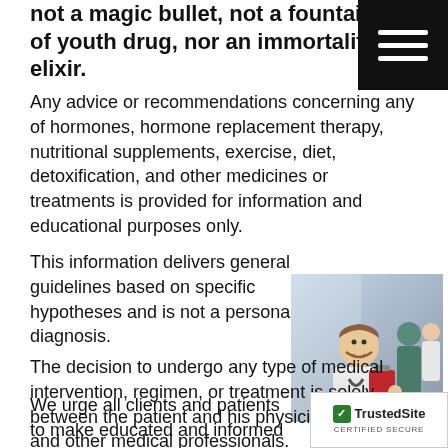not a magic bullet, not a fountain of youth drug, nor an immortality elixir.
Any advice or recommendations concerning any of hormones, hormone replacement therapy, nutritional supplements, exercise, diet, detoxification, and other medicines or treatments is provided for information and educational purposes only.
This information delivers general guidelines based on specific hypotheses and is not a personal diagnosis.
[Figure (photo): A smiling male doctor in a white coat holding a red clipboard, with medical staff in scrubs in the background.]
The decision to undergo any type of medical intervention, regimen, or treatment is solely between the patient and his physicians, nurses, and other medical professionals.
We urge all clients and patients to make educated and informed decisions based on full current and research.
[Figure (logo): TrustedSite CERTIFIED SECURE badge]